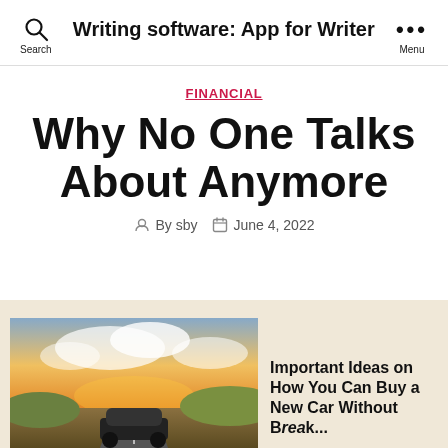Writing software: App for Writer
FINANCIAL
Why No One Talks About Anymore
By sby   June 4, 2022
[Figure (photo): A car on a scenic road with dramatic clouds and sunset lighting]
Important Ideas on How You Can Buy a New Car Without Breaking the Bank